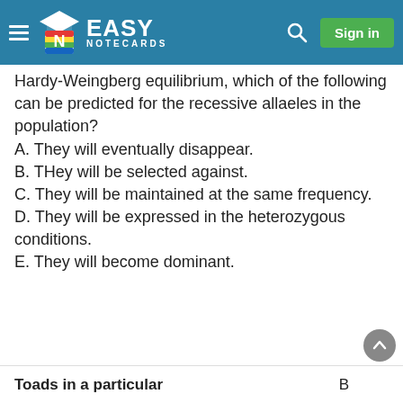Easy Notecards — Sign in
Hardy-Weingberg equilibrium, which of the following can be predicted for the recessive allaeles in the population?
A. They will eventually disappear.
B. THey will be selected against.
C. They will be maintained at the same frequency.
D. They will be expressed in the heterozygous conditions.
E. They will become dominant.
Toads in a particular   B